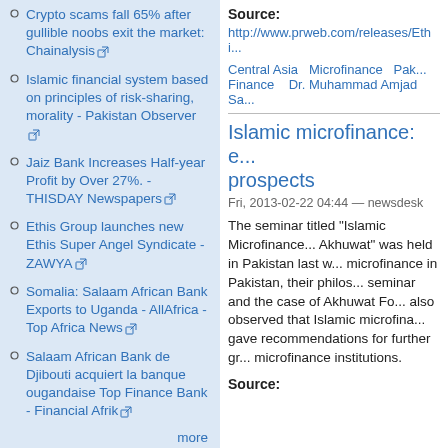Crypto scams fall 65% after gullible noobs exit the market: Chainalysis
Islamic financial system based on principles of risk-sharing, morality - Pakistan Observer
Jaiz Bank Increases Half-year Profit by Over 27%. - THISDAY Newspapers
Ethis Group launches new Ethis Super Angel Syndicate - ZAWYA
Somalia: Salaam African Bank Exports to Uganda - AllAfrica - Top Africa News
Salaam African Bank de Djibouti acquiert la banque ougandaise Top Finance Bank - Financial Afrik
more
Source:
http://www.prweb.com/releases/Ethi...
Central Asia   Microfinance   Pakistan Finance   Dr. Muhammad Amjad Sa...
Islamic microfinance: e... prospects
Fri, 2013-02-22 04:44 — newsdesk
The seminar titled "Islamic Microfinance... Akhuwat" was held in Pakistan last w... microfinance in Pakistan, their philos... seminar and the case of Akhuwat Fo... also observed that Islamic microfina... gave recommendations for further gr... microfinance institutions.
Source: